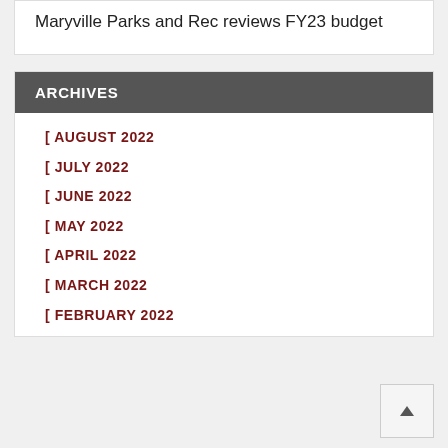Maryville Parks and Rec reviews FY23 budget
ARCHIVES
AUGUST 2022
JULY 2022
JUNE 2022
MAY 2022
APRIL 2022
MARCH 2022
FEBRUARY 2022